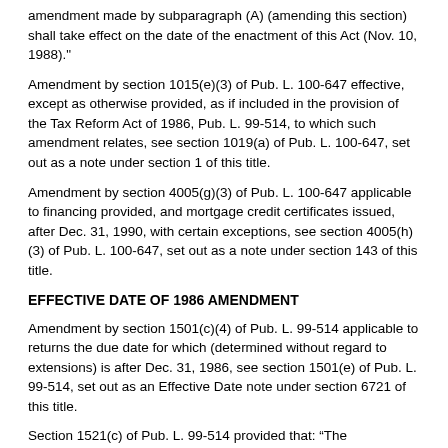amendment made by subparagraph (A) (amending this section) shall take effect on the date of the enactment of this Act (Nov. 10, 1988)."
Amendment by section 1015(e)(3) of Pub. L. 100-647 effective, except as otherwise provided, as if included in the provision of the Tax Reform Act of 1986, Pub. L. 99-514, to which such amendment relates, see section 1019(a) of Pub. L. 100-647, set out as a note under section 1 of this title.
Amendment by section 4005(g)(3) of Pub. L. 100-647 applicable to financing provided, and mortgage credit certificates issued, after Dec. 31, 1990, with certain exceptions, see section 4005(h)(3) of Pub. L. 100-647, set out as a note under section 143 of this title.
EFFECTIVE DATE OF 1986 AMENDMENT
Amendment by section 1501(c)(4) of Pub. L. 99-514 applicable to returns the due date for which (determined without regard to extensions) is after Dec. 31, 1986, see section 1501(e) of Pub. L. 99-514, set out as an Effective Date note under section 6721 of this title.
Section 1521(c) of Pub. L. 99-514 provided that: “The amendments made by this section (amending this section and section 3406 of this title) shall apply to real estate transactions closing after December 31, 1986.”
EFFECTIVE DATE OF 1984 AMENDMENT
Section 150(b) of Pub. L. 98-369 provided that: “The amendment made by this section (amending this section) shall apply to payments received after December 31, 1984.”